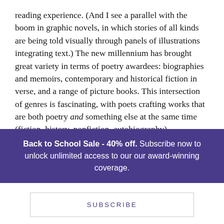reading experience. (And I see a parallel with the boom in graphic novels, in which stories of all kinds are being told visually through panels of illustrations integrating text.) The new millennium has brought great variety in terms of poetry awardees: biographies and memoirs, contemporary and historical fiction in verse, and a range of picture books. This intersection of genres is fascinating, with poets crafting works that are both poetry and something else at the same time (fiction, history, nonfiction, autobiography).

As we look forward into the Newbery's future, I offer a few points to consider. Something of particular note is that all
Back to School Sale - 40% off. Subscribe now to unlock unlimited access to our our award-winning coverage.
SUBSCRIBE